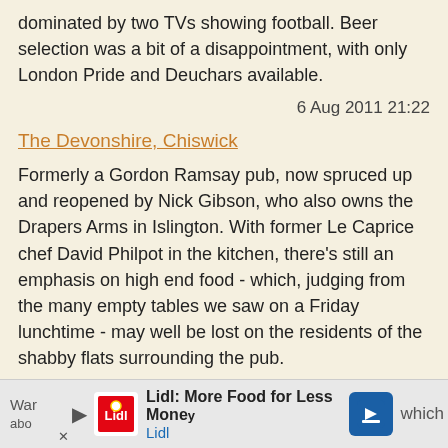dominated by two TVs showing football. Beer selection was a bit of a disappointment, with only London Pride and Deuchars available.
6 Aug 2011 21:22
The Devonshire, Chiswick
Formerly a Gordon Ramsay pub, now spruced up and reopened by Nick Gibson, who also owns the Drapers Arms in Islington. With former Le Caprice chef David Philpot in the kitchen, there's still an emphasis on high end food - which, judging from the many empty tables we saw on a Friday lunchtime - may well be lost on the residents of the shabby flats surrounding the pub.
The decor is ruined by the hideous wallpaper, but what's definitely welcome is the choice of three fine cask ales, which included Woodford's Wherry and Sambrook's
War... which abo... Lidl: More Food for Less Money Lidl
[Figure (infographic): Lidl advertisement banner at the bottom of the page showing Lidl logo and text 'More Food for Less Money' with a blue navigation arrow icon]